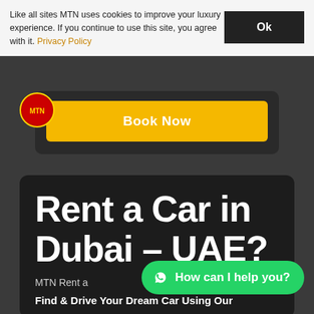Like all sites MTN uses cookies to improve your luxury experience. If you continue to use this site, you agree with it. Privacy Policy
Ok
Book Now
Rent a Car in Dubai – UAE?
MTN Rent a Car offers the Best Car Rental
Find & Drive Your Dream Car Using Our
How can I help you?